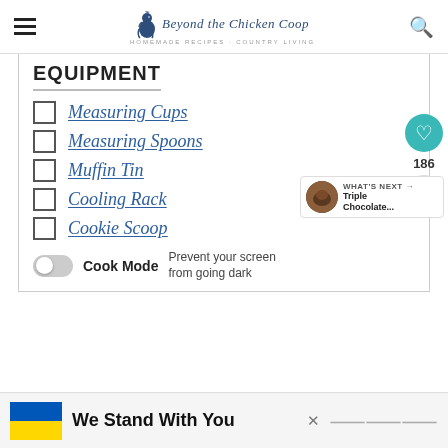Beyond the Chicken Coop — Homemade Recipes · Country Living
EQUIPMENT
Measuring Cups
Measuring Spoons
Muffin Tin
Cooling Rack
Cookie Scoop
Cook Mode — Prevent your screen from going dark
We Stand With You